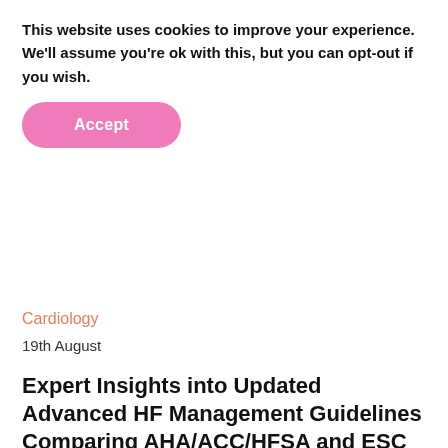This website uses cookies to improve your experience. We'll assume you're ok with this, but you can opt-out if you wish.
[Figure (other): Pink rounded Accept button]
Cardiology
19th August
Expert Insights into Updated Advanced HF Management Guidelines Comparing AHA/ACC/HFSA and ESC Guidelines